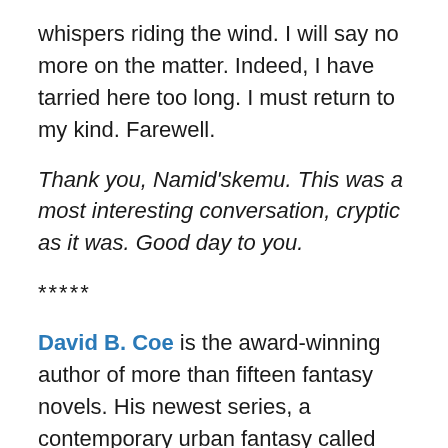whispers riding the wind. I will say no more on the matter. Indeed, I have tarried here too long. I must return to my kind. Farewell.
Thank you, Namid'skemu. This was a most interesting conversation, cryptic as it was. Good day to you.
*****
David B. Coe is the award-winning author of more than fifteen fantasy novels. His newest series, a contemporary urban fantasy called The Case Files of Justis Fearsson, debuts with the January 2015 release from Baen Books of Spell Blind. The second book, His Father's Eyes, will be out in August 2015. Writing as D.B. Jackson, he is the author of the Thieftaker Chronicles, a historical urban fantasy from Tor Books that includes Thieftaker, Thieves' Quarry, A Plunder of Souls, and Dead Man's Reach.